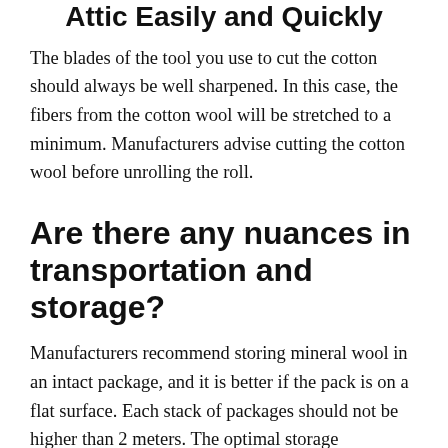Attic Easily and Quickly
The blades of the tool you use to cut the cotton should always be well sharpened. In this case, the fibers from the cotton wool will be stretched to a minimum. Manufacturers advise cutting the cotton wool before unrolling the roll.
Are there any nuances in transportation and storage?
Manufacturers recommend storing mineral wool in an intact package, and it is better if the pack is on a flat surface. Each stack of packages should not be higher than 2 meters. The optimal storage conditions are closed spaces that are